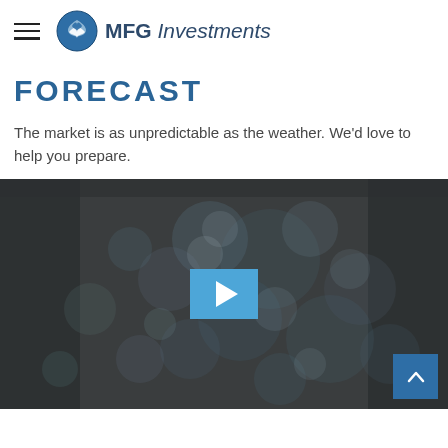MFG Investments
FORECAST
The market is as unpredictable as the weather. We'd love to help you prepare.
[Figure (screenshot): Video thumbnail showing blurred bokeh water droplets on a dark background, with a blue play button in the center and a blue scroll-to-top arrow button in the lower right corner.]